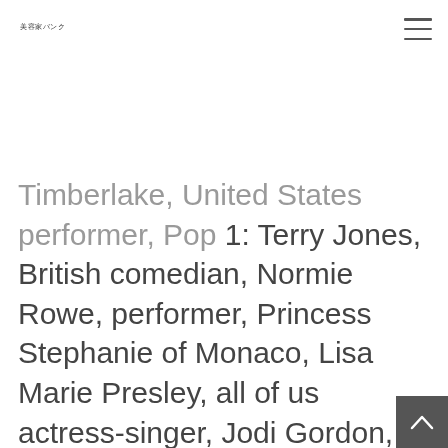美容家バンク
Timberlake, United States performer, Pop 1: Terry Jones, British comedian, Normie Rowe, performer, Princess Stephanie of Monaco, Lisa Marie Presley, all of us actress-singer, Jodi Gordon, actress-model, Ronda Rousey, all of us mixed martial musician, Blake Austin, rugby group user, Cameron McInnes, rugby group user, Harry kinds, British pop vocalist, read instore for details. Products available until January 29th or until sold out. Limited stock. Enjoyable watermelon fact: entire watermelons accumulated